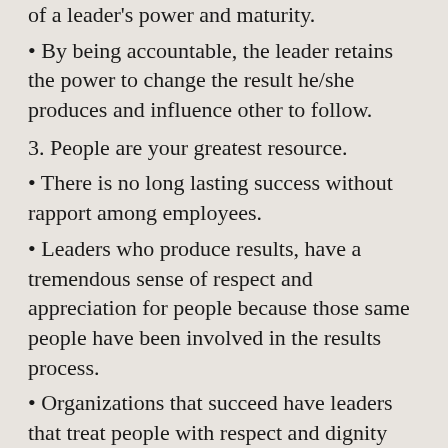of a leader's power and maturity.
• By being accountable, the leader retains the power to change the result he/she produces and influence other to follow.
3. People are your greatest resource.
• There is no long lasting success without rapport among employees.
• Leaders who produce results, have a tremendous sense of respect and appreciation for people because those same people have been involved in the results process.
• Organizations that succeed have leaders that treat people with respect and dignity and see their employees as partners.
So how do you get leaders to “buy into” these concepts? You don’t! Either they believe and embrace them or they don’t. The next question is : What type of “screening” is needed to make sure